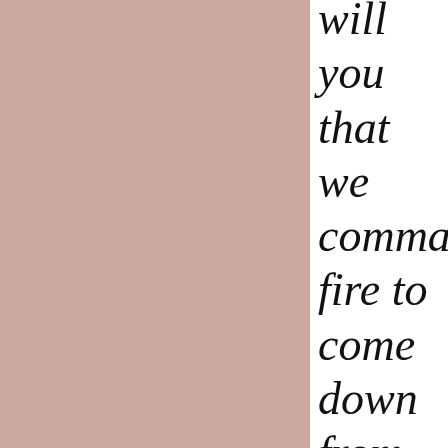[Figure (illustration): Large mauve/dusty rose colored rectangular panel occupying the left roughly two-thirds of the page]
will you that we command fire to come down from heaven, and consume them, even as